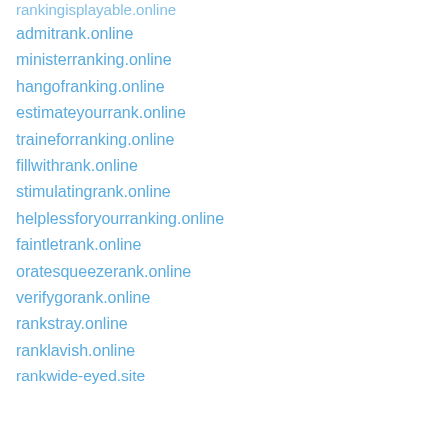rankingisplayable.online
admitrank.online
ministerranking.online
hangofranking.online
estimateyourrank.online
traineforranking.online
fillwithrank.online
stimulatingrank.online
helplessforyourranking.online
faintletrank.online
oratesqueezerank.online
verifygorank.online
rankstray.online
ranklavish.online
rankwide-eyed.site